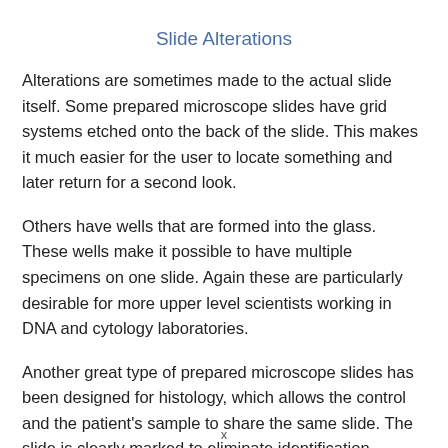Slide Alterations
Alterations are sometimes made to the actual slide itself. Some prepared microscope slides have grid systems etched onto the back of the slide. This makes it much easier for the user to locate something and later return for a second look.
Others have wells that are formed into the glass. These wells make it possible to have multiple specimens on one slide. Again these are particularly desirable for more upper level scientists working in DNA and cytology laboratories.
Another great type of prepared microscope slides has been designed for histology, which allows the control and the patient's sample to share the same slide. The slide is clearly marked to eliminate identification confusion.
x